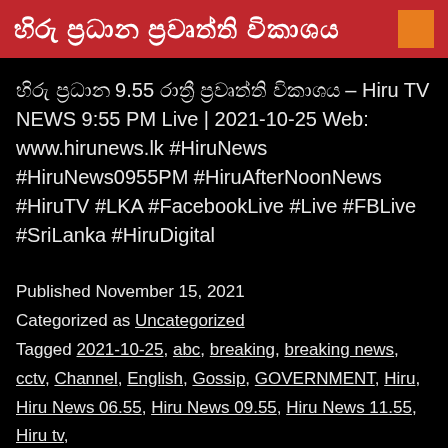හිරු ප්‍රධාන ප්‍රවෘත්ති විකාශය
හිරු ප්‍රධාන 9.55 රාත්‍රී ප්‍රවෘත්ති විකාශය – Hiru TV NEWS 9:55 PM Live | 2021-10-25 Web: www.hirunews.lk #HiruNews #HiruNews0955PM #HiruAfterNoonNews #HiruTV #LKA #FacebookLive #Live #FBLive #SriLanka #HiruDigital
Published November 15, 2021
Categorized as Uncategorized
Tagged 2021-10-25, abc, breaking, breaking news, cctv, Channel, English, Gossip, GOVERNMENT, Hiru, Hiru News 06.55, Hiru News 09.55, Hiru News 11.55, Hiru tv,